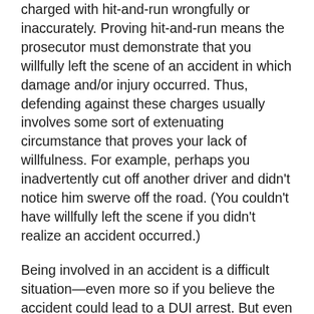charged with hit-and-run wrongfully or inaccurately. Proving hit-and-run means the prosecutor must demonstrate that you willfully left the scene of an accident in which damage and/or injury occurred. Thus, defending against these charges usually involves some sort of extenuating circumstance that proves your lack of willfulness. For example, perhaps you inadvertently cut off another driver and didn't notice him swerve off the road. (You couldn't have willfully left the scene if you didn't realize an accident occurred.)
Being involved in an accident is a difficult situation—even more so if you believe the accident could lead to a DUI arrest. But even if your worst fear comes true in that situation, leaving the scene can only amplify your trouble. Better to fight off the moment of panic than to act